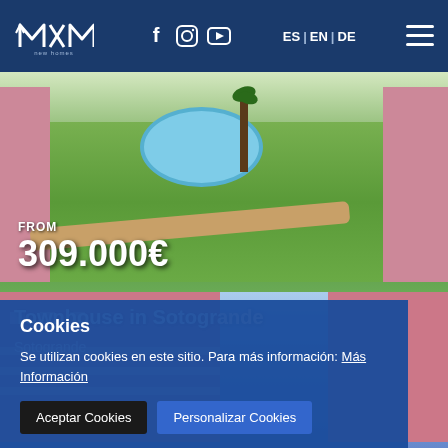MXM new homes — Navigation: Facebook, Instagram, YouTube, ES | EN | DE, Menu
[Figure (photo): Aerial view of a residential property with a swimming pool, green lawns, palm trees, and pink apartment buildings. Price overlay reads FROM 309.000€]
FROM
309.000€
[Figure (photo): Townhouse in Sotogrande — pink Mediterranean-style townhouses with tiled roofs]
Townhouse in Sotogrande
Sotogrande
Cookies
Se utilizan cookies en este sitio. Para más información: Más Información
Aceptar Cookies    Personalizar Cookies